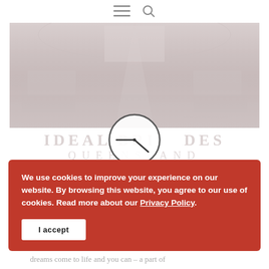Navigation bar with hamburger menu and search icon
[Figure (photo): Wide-angle interior shot of a large exhibition hall filled with wedding expo booths and attendees, faded/low opacity overlay]
[Figure (illustration): Circle clock icon with hands pointing to approximately 4:45, rendered as SVG line art]
IDEAL BRIDES QUEENSLAND
We use cookies to improve your experience on our website. By browsing this website, you agree to our use of cookies. Read more about our Privacy Policy.
I accept
dreams come to life and you can – a part of